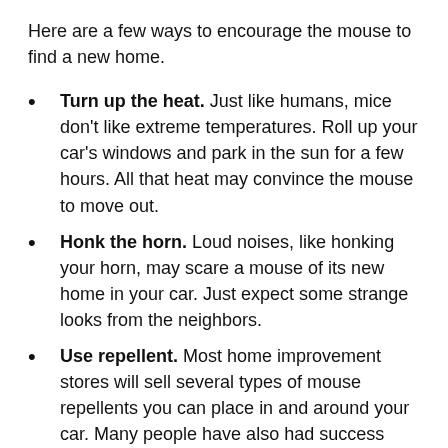Here are a few ways to encourage the mouse to find a new home.
Turn up the heat. Just like humans, mice don't like extreme temperatures. Roll up your car's windows and park in the sun for a few hours. All that heat may convince the mouse to move out.
Honk the horn. Loud noises, like honking your horn, may scare a mouse of its new home in your car. Just expect some strange looks from the neighbors.
Use repellent. Most home improvement stores will sell several types of mouse repellents you can place in and around your car. Many people have also had success using cotton balls soaked in peppermint oil.